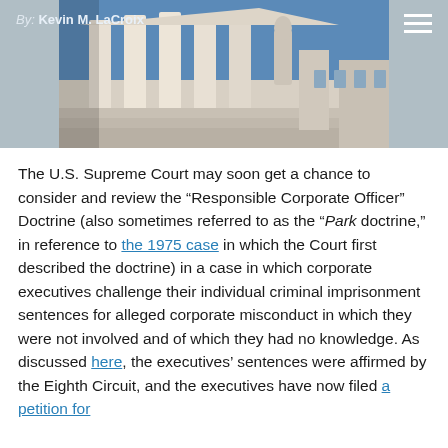By: Kevin M. LaCroix
[Figure (photo): Photograph of the U.S. Supreme Court building exterior, showing white marble columns and a classical statue, taken from a low angle against a blue sky.]
The U.S. Supreme Court may soon get a chance to consider and review the “Responsible Corporate Officer” Doctrine (also sometimes referred to as the “Park doctrine,” in reference to the 1975 case in which the Court first described the doctrine) in a case in which corporate executives challenge their individual criminal imprisonment sentences for alleged corporate misconduct in which they were not involved and of which they had no knowledge. As discussed here, the executives’ sentences were affirmed by the Eighth Circuit, and the executives have now filed a petition for